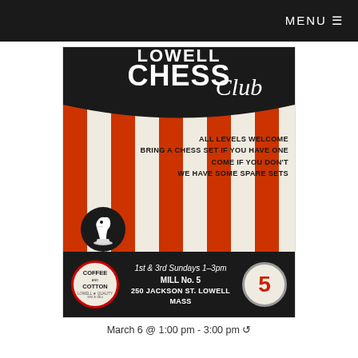MENU
[Figure (illustration): Lowell Chess Club promotional poster with red and cream vertical stripes background, black banner header reading 'CHESS Club', text listing all levels welcome bring a chess set if you have one come if you don't we have some spare sets, a knight chess piece icon, and a bottom bar with Coffee and Cotton logo, event details, and a number 5 circle badge.]
March 6 @ 1:00 pm - 3:00 pm ↺